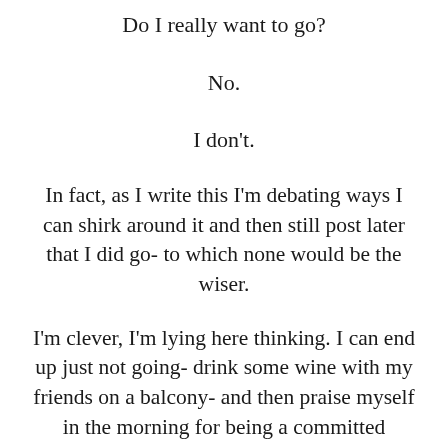Do I really want to go?
No.
I don't.
In fact, as I write this I'm debating ways I can shirk around it and then still post later that I did go- to which none would be the wiser.
I'm clever, I'm lying here thinking. I can end up just not going- drink some wine with my friends on a balcony- and then praise myself in the morning for being a committed “recoverer” via a post.
Whatta load of bullshit, right?